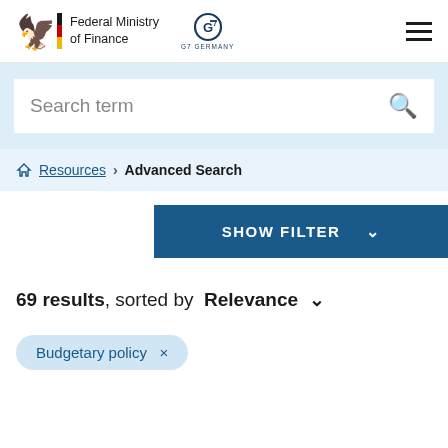Federal Ministry of Finance
Search term
Resources › Advanced Search
SHOW FILTER
69 results, sorted by Relevance
Budgetary policy ×